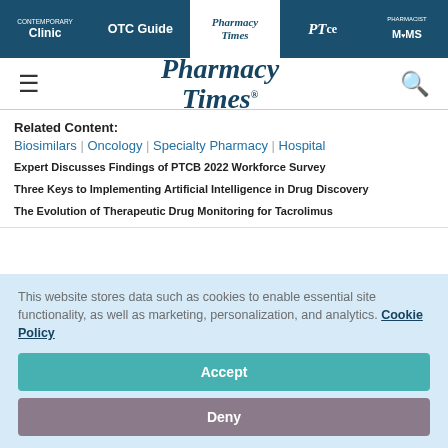Clinic | OTC Guide | Pharmacy Times | PTce | PHARMACIST MOMS
[Figure (logo): Pharmacy Times logo with hamburger menu and search icon]
Related Content:
Biosimilars | Oncology | Specialty Pharmacy | Hospital
Expert Discusses Findings of PTCB 2022 Workforce Survey
Three Keys to Implementing Artificial Intelligence in Drug Discovery
The Evolution of Therapeutic Drug Monitoring for Tacrolimus
This website stores data such as cookies to enable essential site functionality, as well as marketing, personalization, and analytics. Cookie Policy
Accept
Deny